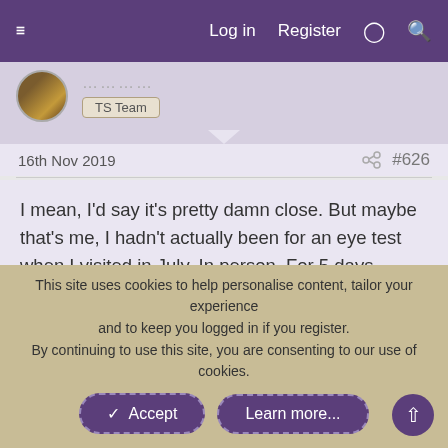Log in   Register
TS Team
16th Nov 2019   #626
I mean, I'd say it's pretty damn close. But maybe that's me, I hadn't actually been for an eye test when I visited in July. In person. For 5 days. Soooo...
[Figure (photo): Interior photo showing a wooden-paneled room with warm lighting and a blue fabric/banner visible in the center background.]
This site uses cookies to help personalise content, tailor your experience and to keep you logged in if you register.
By continuing to use this site, you are consenting to our use of cookies.